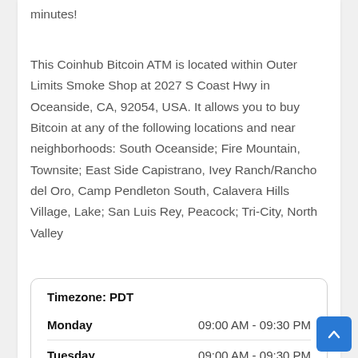minutes!
This Coinhub Bitcoin ATM is located within Outer Limits Smoke Shop at 2027 S Coast Hwy in Oceanside, CA, 92054, USA. It allows you to buy Bitcoin at any of the following locations and near neighborhoods: South Oceanside; Fire Mountain, Townsite; East Side Capistrano, Ivey Ranch/Rancho del Oro, Camp Pendleton South, Calavera Hills Village, Lake; San Luis Rey, Peacock; Tri-City, North Valley
| Day | Hours |
| --- | --- |
| Timezone: PDT |  |
| Monday | 09:00 AM - 09:30 PM |
| Tuesday | 09:00 AM - 09:30 PM |
| Wednesday | 09:00 AM - 09:30 PM |